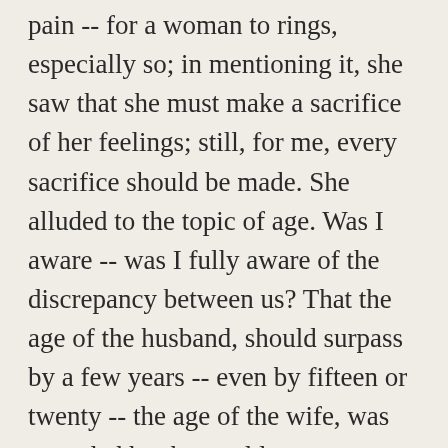pain -- for a woman to rings, especially so; in mentioning it, she saw that she must make a sacrifice of her feelings; still, for me, every sacrifice should be made. She alluded to the topic of age. Was I aware -- was I fully aware of the discrepancy between us? That the age of the husband, should surpass by a few years -- even by fifteen or twenty -- the age of the wife, was regarded by the world as admissible, and, indeed, as even proper, but she had always entertained the belief that the years of the wife should never exceed in number those of the husband. A